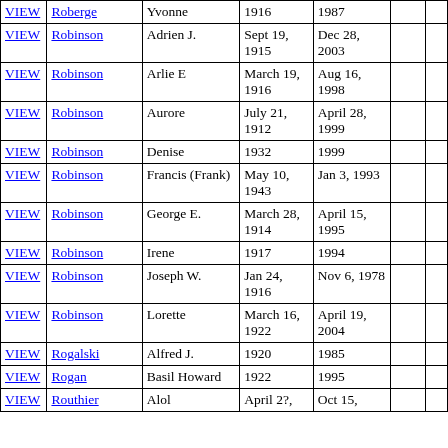| VIEW | Last Name | First Name | Birth | Death |  |  |
| --- | --- | --- | --- | --- | --- | --- |
| VIEW | Roberge | Yvonne | 1916 | 1987 |  |  |
| VIEW | Robinson | Adrien J. | Sept 19, 1915 | Dec 28, 2003 |  |  |
| VIEW | Robinson | Arlie E | March 19, 1916 | Aug 16, 1998 |  |  |
| VIEW | Robinson | Aurore | July 21, 1912 | April 28, 1999 |  |  |
| VIEW | Robinson | Denise | 1932 | 1999 |  |  |
| VIEW | Robinson | Francis (Frank) | May 10, 1943 | Jan 3, 1993 |  |  |
| VIEW | Robinson | George E. | March 28, 1914 | April 15, 1995 |  |  |
| VIEW | Robinson | Irene | 1917 | 1994 |  |  |
| VIEW | Robinson | Joseph W. | Jan 24, 1916 | Nov 6, 1978 |  |  |
| VIEW | Robinson | Lorette | March 16, 1922 | April 19, 2004 |  |  |
| VIEW | Rogalski | Alfred J. | 1920 | 1985 |  |  |
| VIEW | Rogan | Basil Howard | 1922 | 1995 |  |  |
| VIEW | Routhier | Alol... | April 2?... | Oct 15... |  |  |